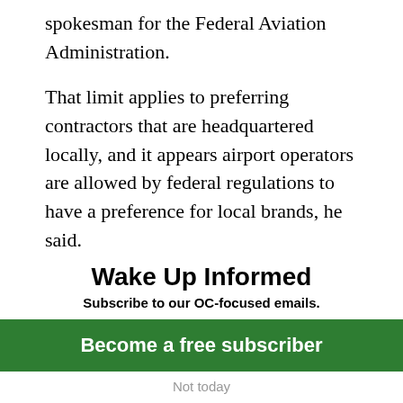spokesman for the Federal Aviation Administration.
That limit applies to preferring contractors that are headquartered locally, and it appears airport operators are allowed by federal regulations to have a preference for local brands, he said.
Whittingham and his immediate family have directly contributed $3,000 to
Wake Up Informed
Subscribe to our OC-focused emails.
Become a free subscriber
Not today